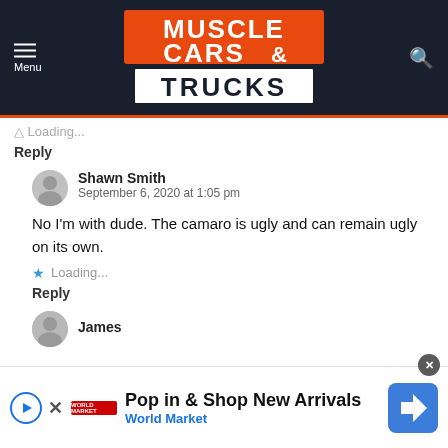[Figure (logo): Muscle Cars & Trucks website header logo on dark navy background with orange accent bar]
Loading...
Reply
Shawn Smith
September 6, 2020 at 1:05 pm
No I'm with dude. The camaro is ugly and can remain ugly on its own.
Loading...
Reply
James
[Figure (screenshot): Pop in & Shop New Arrivals - World Market advertisement banner]